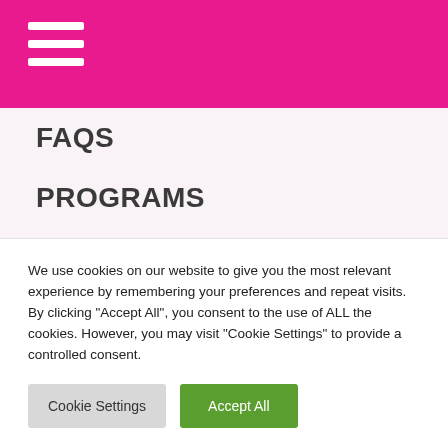[Figure (screenshot): Pink header bar with white hamburger menu icon (three horizontal lines)]
FAQS
PROGRAMS
EVENTS
UPDATE MY LISTING
NEWS
SHOP
VOLUNTEER
We use cookies on our website to give you the most relevant experience by remembering your preferences and repeat visits. By clicking “Accept All”, you consent to the use of ALL the cookies. However, you may visit "Cookie Settings" to provide a controlled consent.
Cookie Settings
Accept All